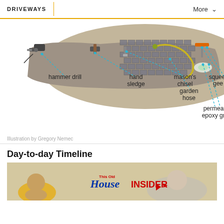DRIVEWAYS   More
[Figure (illustration): Illustration of driveway repair tools laid out on a paver surface, with dashed blue lines pointing to labeled tools: hammer drill, hand sledge, mason's chisel, squeegee, garden hose, permeable epoxy grout.]
Illustration by Gregory Nemec
Day-to-day Timeline
[Figure (photo): This Old House INSIDER promotional image showing people working.]